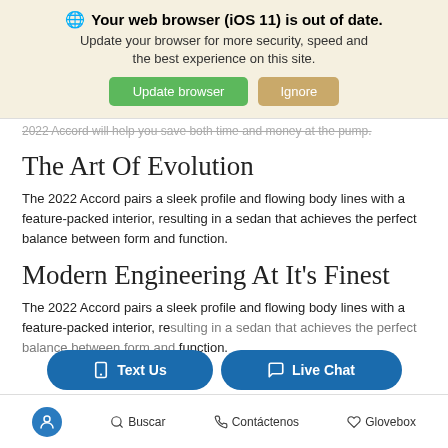[Figure (screenshot): Browser update banner with globe icon, bold warning text, subtext, and two buttons: 'Update browser' (green) and 'Ignore' (tan/gold)]
2022 Accord will help you save both time and money at the pump.
The Art Of Evolution
The 2022 Accord pairs a sleek profile and flowing body lines with a feature-packed interior, resulting in a sedan that achieves the perfect balance between form and function.
Modern Engineering At It's Finest
The 2022 Accord pairs a sleek profile and flowing body lines with a feature-packed interior, resulting in a sedan that achieves the perfect balance between form and function.
[Figure (screenshot): Two floating dark blue pill-shaped buttons: 'Text Us' with phone icon and 'Live Chat' with chat bubble icon]
Accessibility icon | Buscar | Contáctenos | Glovebox